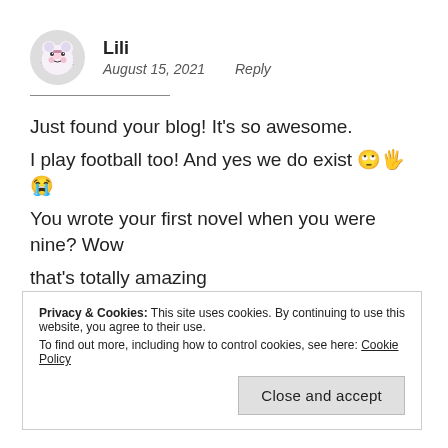Lili
August 15, 2021   Reply
Just found your blog! It's so awesome.
I play football too! And yes we do exist 🙄🖐😭
You wrote your first novel when you were nine? Wow that's totally amazing
And you're so pretty 😭💛
Privacy & Cookies: This site uses cookies. By continuing to use this website, you agree to their use.
To find out more, including how to control cookies, see here: Cookie Policy
Close and accept